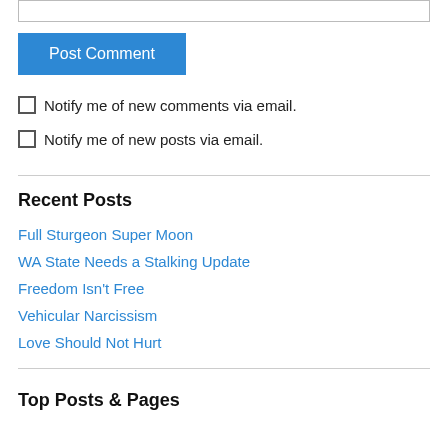[input box]
Post Comment
Notify me of new comments via email.
Notify me of new posts via email.
Recent Posts
Full Sturgeon Super Moon
WA State Needs a Stalking Update
Freedom Isn't Free
Vehicular Narcissism
Love Should Not Hurt
Top Posts & Pages